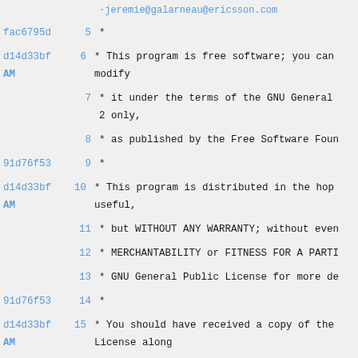jeremie@galarneau@ericsson.com (partial, top)
fac6795d 5   *
d14d33bf AM 6   * This program is free software; you can modify
7   * it under the terms of the GNU General 2 only,
8   * as published by the Free Software Foun
91d76f53 9   *
d14d33bf AM 10   * This program is distributed in the hop useful,
11   * but WITHOUT ANY WARRANTY; without even
12   * MERCHANTABILITY or FITNESS FOR A PARTI
13   * GNU General Public License for more de
91d76f53 14   *
d14d33bf AM 15   * You should have received a copy of the License along
16   * with this program; if not, write to th Foundation, Inc.,